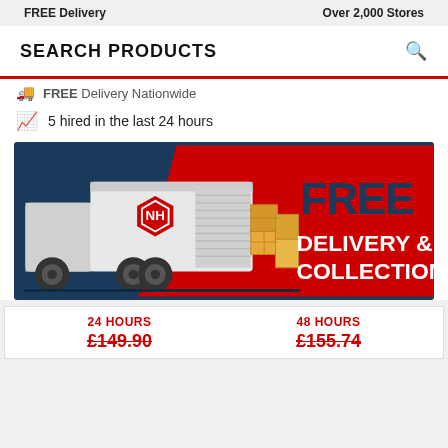FREE Delivery | Over 2,000 Stores
SEARCH PRODUCTS
FREE Delivery Nationwide
5 hired in the last 24 hours
[Figure (illustration): Promotional banner showing a red delivery truck with NH logo and boxes, with text FREE DELIVERY & COLLECTION on a red/navy background]
| 24 HOURS | 48 HOURS |
| --- | --- |
| £149.90 | £155.74 |